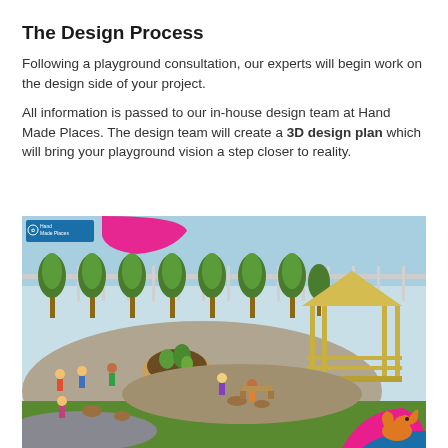The Design Process
Following a playground consultation, our experts will begin work on the design side of your project.
All information is passed to our in-house design team at Hand Made Places. The design team will create a 3D design plan which will bring your playground vision a step closer to reality.
[Figure (illustration): 3D design render of a playground featuring children playing, trees along a fence, a gazebo/shelter structure, circular planting bed, wooden furniture, and Hand Made Places branding with pink and blue decorative blobs and a squirrel graphic in the corner.]